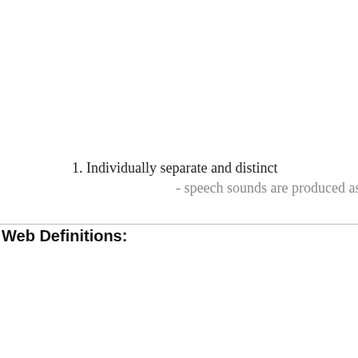1. Individually separate and distinct - speech sounds are produced as a continuo…
Web Definitions: